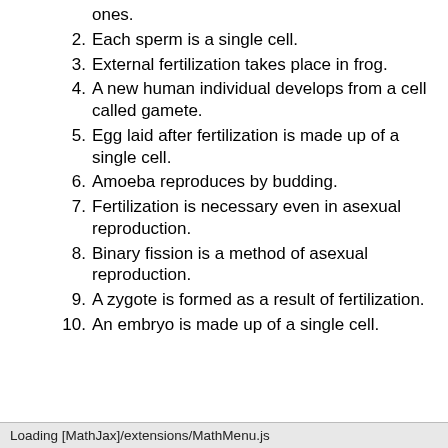ones.
2. Each sperm is a single cell.
3. External fertilization takes place in frog.
4. A new human individual develops from a cell called gamete.
5. Egg laid after fertilization is made up of a single cell.
6. Amoeba reproduces by budding.
7. Fertilization is necessary even in asexual reproduction.
8. Binary fission is a method of asexual reproduction.
9. A zygote is formed as a result of fertilization.
10. An embryo is made up of a single cell.
Loading [MathJax]/extensions/MathMenu.js